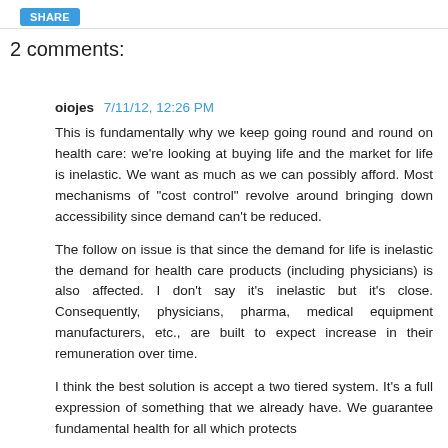SHARE
2 comments:
oiojes  7/11/12, 12:26 PM
This is fundamentally why we keep going round and round on health care: we're looking at buying life and the market for life is inelastic. We want as much as we can possibly afford. Most mechanisms of "cost control" revolve around bringing down accessibility since demand can't be reduced.
The follow on issue is that since the demand for life is inelastic the demand for health care products (including physicians) is also affected. I don't say it's inelastic but it's close. Consequently, physicians, pharma, medical equipment manufacturers, etc., are built to expect increase in their remuneration over time.
I think the best solution is accept a two tiered system. It's a full expression of something that we already have. We guarantee fundamental health for all which protects people in from one end whilst allowing them in the other...